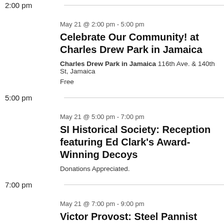2:00 pm
May 21 @ 2:00 pm - 5:00 pm
Celebrate Our Community! at Charles Drew Park in Jamaica
Charles Drew Park in Jamaica 116th Ave. & 140th St, Jamaica
Free
5:00 pm
May 21 @ 5:00 pm - 7:00 pm
SI Historical Society: Reception featuring Ed Clark's Award-Winning Decoys
Donations Appreciated.
7:00 pm
May 21 @ 7:00 pm - 9:00 pm
Victor Provost: Steel Pannist